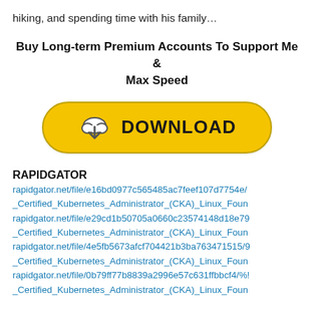hiking, and spending time with his family…
Buy Long-term Premium Accounts To Support Me & Max Speed
[Figure (illustration): Yellow download button with cloud and downward arrow icon and text DOWNLOAD]
RAPIDGATOR
rapidgator.net/file/e16bd0977c565485ac7feef107d7754e/
_Certified_Kubernetes_Administrator_(CKA)_Linux_Foun
rapidgator.net/file/e29cd1b50705a0660c23574148d18e79
_Certified_Kubernetes_Administrator_(CKA)_Linux_Foun
rapidgator.net/file/4e5fb5673afcf704421b3ba763471515/9
_Certified_Kubernetes_Administrator_(CKA)_Linux_Foun
rapidgator.net/file/0b79ff77b8839a2996e57c631ffbbcf4/%!
_Certified_Kubernetes_Administrator_(CKA)_Linux_Foun